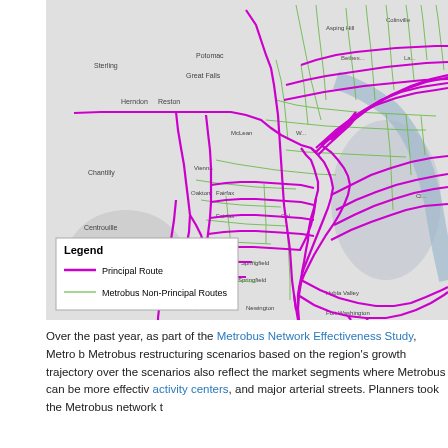[Figure (map): A regional map showing the Washington DC metro area with Metrobus routes overlaid. Purple lines indicate Principal Routes and green lines show Metrobus Non-Principal Routes. The map covers Northern Virginia (Sterling, Herndon, Reston, Chantilly, Centreville, Springfield areas) and extends into DC. A legend box in the lower left identifies route types.]
Over the past year, as part of the Metrobus Network Effectiveness Study, Metro b Metrobus restructuring scenarios based on the region's growth trajectory over the scenarios also reflect the market segments where Metrobus can be more effectiv activity centers, and major arterial streets. Planners took the Metrobus network t